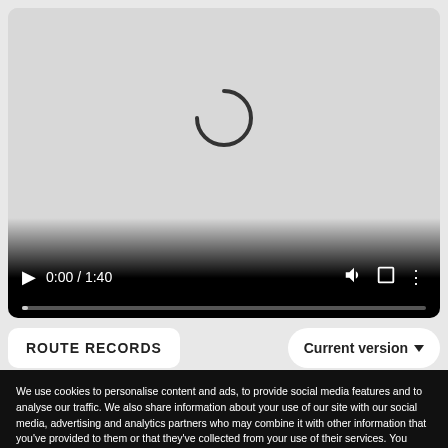[Figure (screenshot): Video player with loading spinner showing 0:00 / 1:40, dark controls bar at bottom with play button, time display, volume, fullscreen, and more options icons, and a progress bar.]
ROUTE RECORDS
Current version ▼
We use cookies to personalise content and ads, to provide social media features and to analyse our traffic. We also share information about your use of our site with our social media, advertising and analytics partners who may combine it with other information that you've provided to them or that they've collected from your use of their services. You consent to our cookies if you continue to use our website.
Settings ▼
Allow all cookies